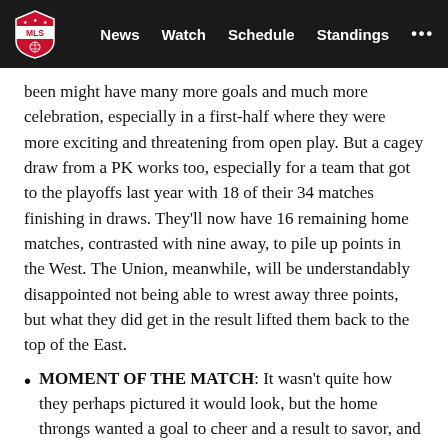MLS | News  Watch  Schedule  Standings  ...
been might have many more goals and much more celebration, especially in a first-half where they were more exciting and threatening from open play. But a cagey draw from a PK works too, especially for a team that got to the playoffs last year with 18 of their 34 matches finishing in draws. They'll now have 16 remaining home matches, contrasted with nine away, to pile up points in the West. The Union, meanwhile, will be understandably disappointed not being able to wrest away three points, but what they did get in the result lifted them back to the top of the East.
MOMENT OF THE MATCH: It wasn't quite how they perhaps pictured it would look, but the home throngs wanted a goal to cheer and a result to savor, and Leal